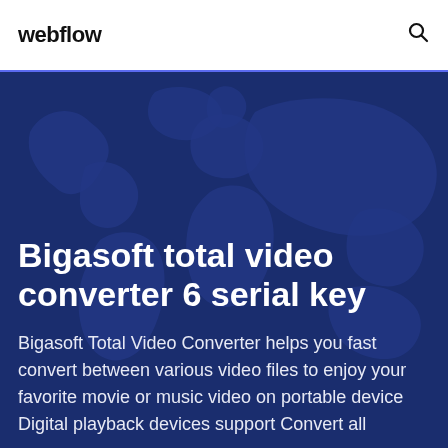webflow
Bigasoft total video converter 6 serial key
Bigasoft Total Video Converter helps you fast convert between various video files to enjoy your favorite movie or music video on portable device Digital playback devices support Convert all